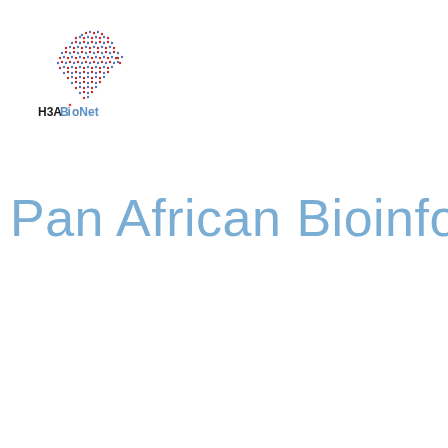[Figure (logo): H3ABioNet logo: a dotted map of Africa shape made of red and blue dots, with the text H3ABioNet below it in bold, where 'Bio' is in blue and the rest in black, with a red dot over the letter i in Bio]
Pan African Bioinformatics